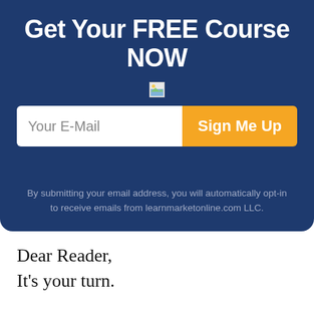Get Your FREE Course NOW
[Figure (other): Small broken image icon placeholder]
Your E-Mail  Sign Me Up
By submitting your email address, you will automatically opt-in to receive emails from learnmarketonline.com LLC.
Dear Reader,
It's your turn.